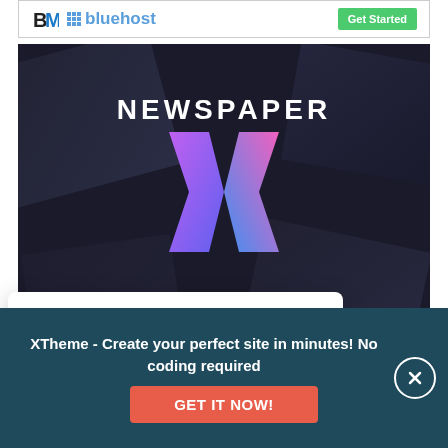[Figure (other): Bluehost advertisement banner with BM logo, bluehost text with grid icon, and green 'Get Started' button]
[Figure (other): Newspaper X WordPress theme advertisement: dark background with blurred website screenshots, large white 'NEWSPAPER' text, colorful gradient X logo, tagline '#1 Selling Blog, Magazine and News Theme of All Time']
This website uses cookies to ensure you get the best experience on our website. Read more
XTheme - Create your perfect site in minutes! No coding required
[Figure (other): GET IT NOW! red button in dark teal bottom bar with close X button]